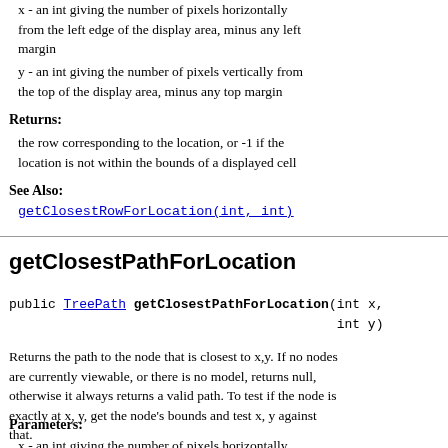x - an int giving the number of pixels horizontally from the left edge of the display area, minus any left margin
y - an int giving the number of pixels vertically from the top of the display area, minus any top margin
Returns:
the row corresponding to the location, or -1 if the location is not within the bounds of a displayed cell
See Also:
getClosestRowForLocation(int, int)
getClosestPathForLocation
public TreePath getClosestPathForLocation(int x, int y)
Returns the path to the node that is closest to x,y. If no nodes are currently viewable, or there is no model, returns null, otherwise it always returns a valid path. To test if the node is exactly at x, y, get the node's bounds and test x, y against that.
Parameters:
x - an int giving the number of pixels horizontally from the left edge of the display area, minus any left